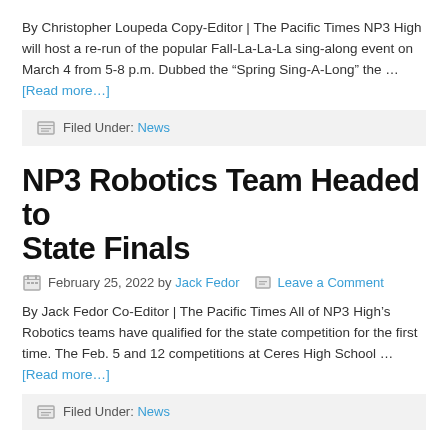By Christopher Loupeda Copy-Editor | The Pacific Times NP3 High will host a re-run of the popular Fall-La-La-La sing-along event on March 4 from 5-8 p.m. Dubbed the “Spring Sing-A-Long” the … [Read more...]
Filed Under: News
NP3 Robotics Team Headed to State Finals
February 25, 2022 by Jack Fedor   Leave a Comment
By Jack Fedor Co-Editor | The Pacific Times All of NP3 High’s Robotics teams have qualified for the state competition for the first time. The Feb. 5 and 12 competitions at Ceres High School … [Read more...]
Filed Under: News
Planning to Apply to College?